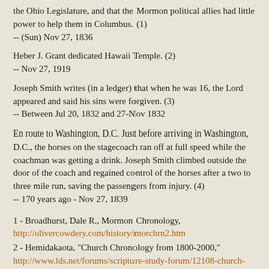the Ohio Legislature, and that the Mormon political allies had little power to help them in Columbus. (1)
-- (Sun) Nov 27, 1836
Heber J. Grant dedicated Hawaii Temple. (2)
-- Nov 27, 1919
Joseph Smith writes (in a ledger) that when he was 16, the Lord appeared and said his sins were forgiven. (3)
-- Between Jul 20, 1832 and 27-Nov 1832
En route to Washington, D.C. Just before arriving in Washington, D.C., the horses on the stagecoach ran off at full speed while the coachman was getting a drink. Joseph Smith climbed outside the door of the coach and regained control of the horses after a two to three mile run, saving the passengers from injury. (4)
-- 170 years ago - Nov 27, 1839
1 - Broadhurst, Dale R., Mormon Chronology, http://olivercowdery.com/history/morchrn2.htm
2 - Hemidakaota, "Church Chronology from 1800-2000," http://www.lds.net/forums/scripture-study-forum/12108-church-